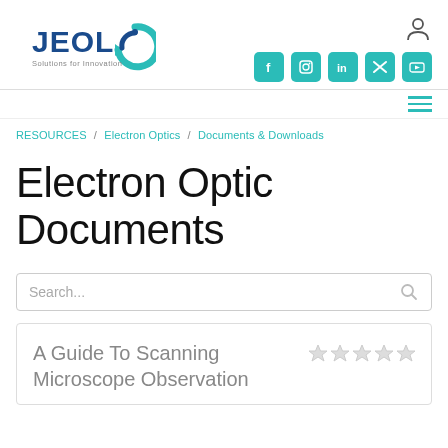[Figure (logo): JEOL logo with teal circular arrow icon and tagline 'Solutions for Innovation']
[Figure (infographic): User account icon (person silhouette) and social media icons: Facebook, Instagram, LinkedIn, Twitter, YouTube — teal rounded square buttons]
[Figure (infographic): Hamburger menu icon (three teal horizontal lines)]
RESOURCES / Electron Optics / Documents & Downloads
Electron Optic Documents
Search...
A Guide To Scanning Microscope Observation